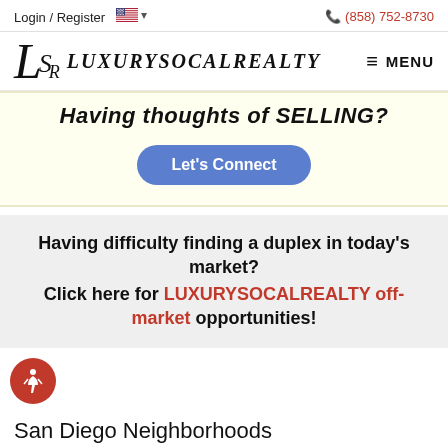Login / Register   🇺🇸 ▾   (858) 752-8730
[Figure (logo): LuxurySoCalRealty logo with stylized LSR letterform and text, plus MENU hamburger button]
Having thoughts of SELLING?
Let's Connect
Having difficulty finding a duplex in today's market? Click here for LUXURYSOCALREALTY off-market opportunities!
San Diego Neighborhoods